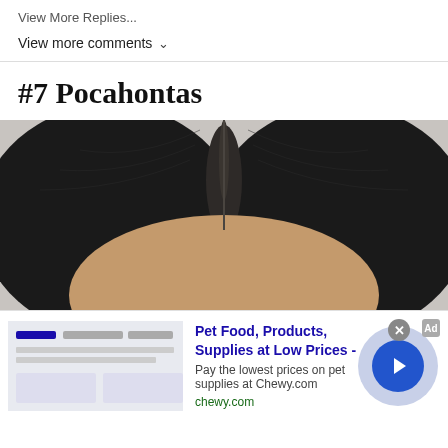View More Replies...
View more comments ∨
#7 Pocahontas
[Figure (photo): Close-up top view of a person's head showing dark black hair with a center part, from forehead to crown against a light gray background.]
[Figure (other): Advertisement banner: Pet Food, Products, Supplies at Low Prices - chewy.com. Shows ad thumbnail with chewy branding, text, and a blue circular arrow button. Has an X close button.]